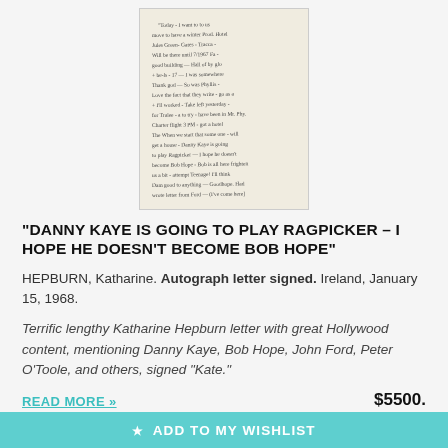[Figure (photo): Handwritten autograph letter by Katharine Hepburn, cursive script on aged paper, Ireland, January 15, 1968.]
"DANNY KAYE IS GOING TO PLAY RAGPICKER – I HOPE HE DOESN'T BECOME BOB HOPE"
HEPBURN, Katharine. Autograph letter signed. Ireland, January 15, 1968.
Terrific lengthy Katharine Hepburn letter with great Hollywood content, mentioning Danny Kaye, Bob Hope, John Ford, Peter O'Toole, and others, signed "Kate."
READ MORE »
$5500.
★ ADD TO MY WISHLIST